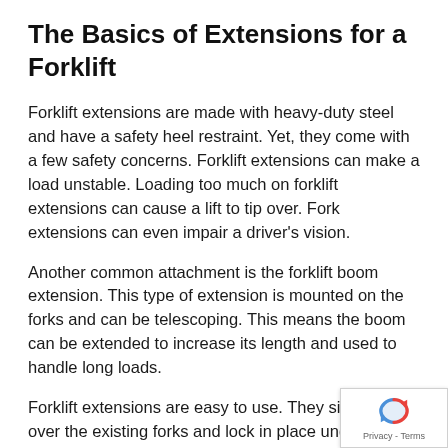The Basics of Extensions for a Forklift
Forklift extensions are made with heavy-duty steel and have a safety heel restraint. Yet, they come with a few safety concerns. Forklift extensions can make a load unstable. Loading too much on forklift extensions can cause a lift to tip over. Fork extensions can even impair a driver's vision.
Another common attachment is the forklift boom extension. This type of extension is mounted on the forks and can be telescoping. This means the boom can be extended to increase its length and used to handle long loads.
Forklift extensions are easy to use. They simply slide over the existing forks and lock in place under a fork hanger. Some heavy-duty forklift extensions have a welded notch on the end fo